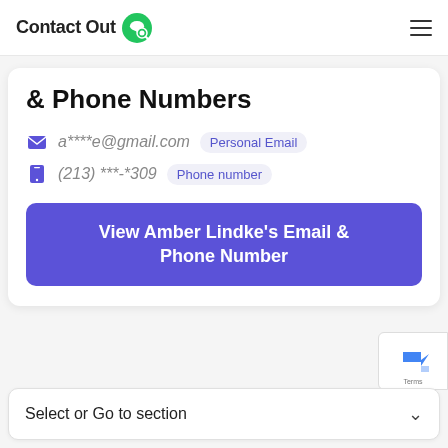ContactOut
& Phone Numbers
a****e@gmail.com  Personal Email
(213) ***-*309  Phone number
View Amber Lindke's Email & Phone Number
Wrong Amber Lindke?
Select or Go to section